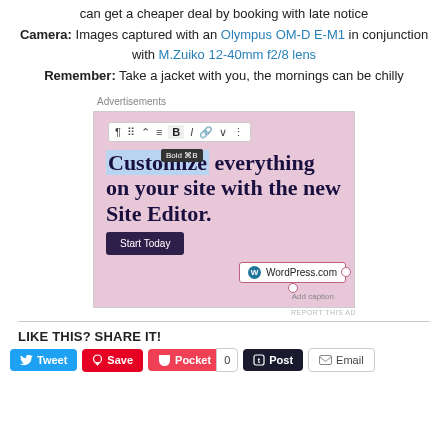can get a cheaper deal by booking with late notice
Camera: Images captured with an Olympus OM-D E-M1 in conjunction with M.Zuiko 12-40mm f2/8 lens
Remember: Take a jacket with you, the mornings can be chilly
Advertisements
[Figure (screenshot): WordPress.com advertisement screenshot showing a Site Editor promotional image with toolbar, 'Customize everything on your site with the new Site Editor.' headline, Start Today button, and WordPress.com badge.]
REPORT THIS AD
LIKE THIS? SHARE IT!
Tweet
Save
Pocket 0
Post
Email